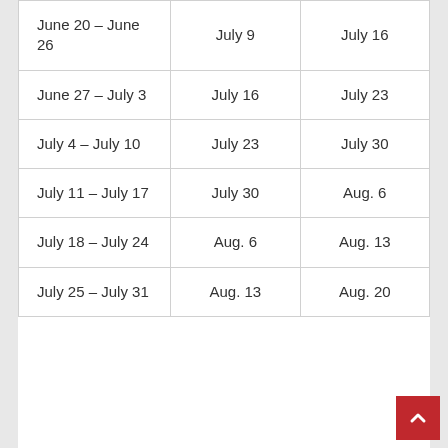| June 20 – June 26 | July 9 | July 16 |
| June 27 – July 3 | July 16 | July 23 |
| July 4 – July 10 | July 23 | July 30 |
| July 11 – July 17 | July 30 | Aug. 6 |
| July 18 – July 24 | Aug. 6 | Aug. 13 |
| July 25 – July 31 | Aug. 13 | Aug. 20 |